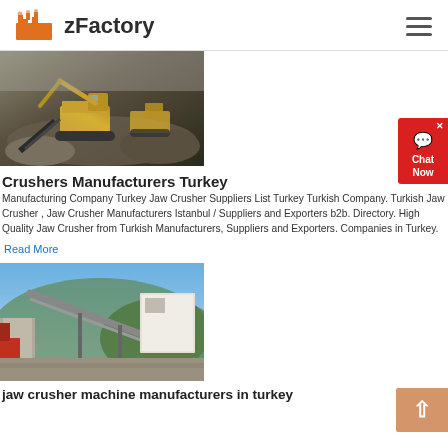zFactory
[Figure (photo): Yellow construction/mining crusher machines operating on a rocky quarry site]
Crushers Manufacturers Turkey
Manufacturing Company Turkey Jaw Crusher Suppliers List Turkey Turkish Company. Turkish Jaw Crusher , Jaw Crusher Manufacturers Istanbul / Suppliers and Exporters b2b. Directory. High Quality Jaw Crusher from Turkish Manufacturers, Suppliers and Exporters. Companies in Turkey.
Read More
[Figure (photo): Industrial jaw crusher machine setup at a quarry or construction site with conveyor belt visible]
jaw crusher machine manufacturers in turkey